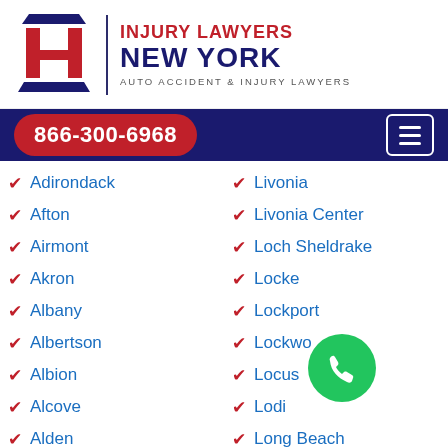[Figure (logo): Injury Lawyers New York logo with IL emblem and text]
866-300-6968
Adirondack
Afton
Airmont
Akron
Albany
Albertson
Albion
Alcove
Alden
Alder Creek
Alexander
Livonia
Livonia Center
Loch Sheldrake
Locke
Lockport
Lockwood
Locust
Lodi
Long Beach
Long Eddy
Long Island City